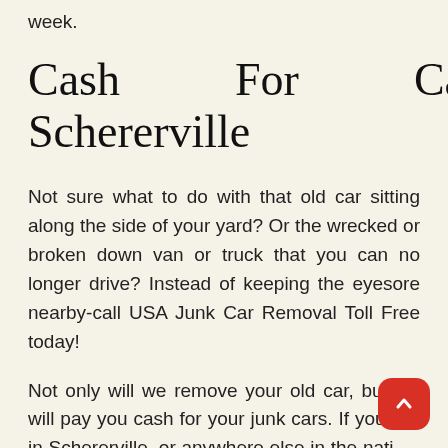week.
Cash For Cars Schererville
Not sure what to do with that old car sitting along the side of your yard? Or the wrecked or broken down van or truck that you can no longer drive? Instead of keeping the eyesore nearby-call USA Junk Car Removal Toll Free today!
Not only will we remove your old car, but we will pay you cash for your junk cars. If you live in Schererville, or anywhere else in the nation, we offer free junk car removal.